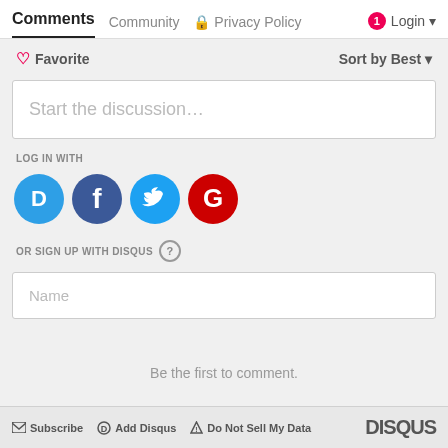Comments  Community  🔒 Privacy Policy  🔴1 Login ▾
♡ Favorite   Sort by Best ▾
Start the discussion…
LOG IN WITH
[Figure (infographic): Four social login circles: Disqus (blue with D), Facebook (dark blue with f), Twitter (light blue with bird), Google (red with G)]
OR SIGN UP WITH DISQUS ?
Name
Be the first to comment.
✉ Subscribe  Ⓓ Add Disqus  ⚠ Do Not Sell My Data   DISQUS